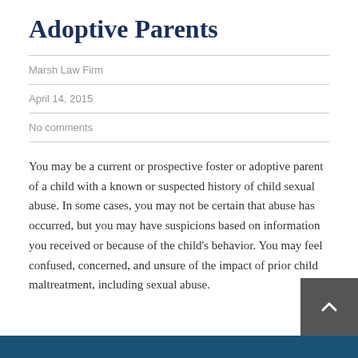Adoptive Parents
Marsh Law Firm
April 14, 2015
No comments
You may be a current or prospective foster or adoptive parent of a child with a known or suspected history of child sexual abuse. In some cases, you may not be certain that abuse has occurred, but you may have suspicions based on information you received or because of the child's behavior. You may feel confused, concerned, and unsure of the impact of prior child maltreatment, including sexual abuse.